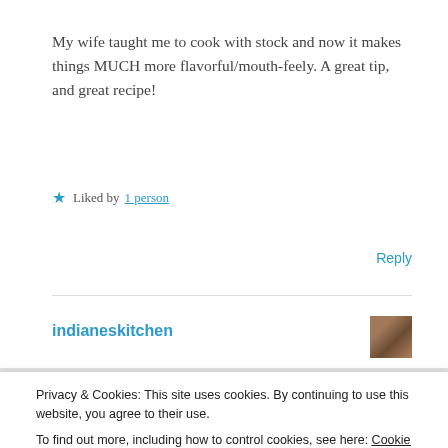My wife taught me to cook with stock and now it makes things MUCH more flavorful/mouth-feely. A great tip, and great recipe!
★ Liked by 1 person
Reply
indianeskitchen
Privacy & Cookies: This site uses cookies. By continuing to use this website, you agree to their use. To find out more, including how to control cookies, see here: Cookie Policy
Close and accept